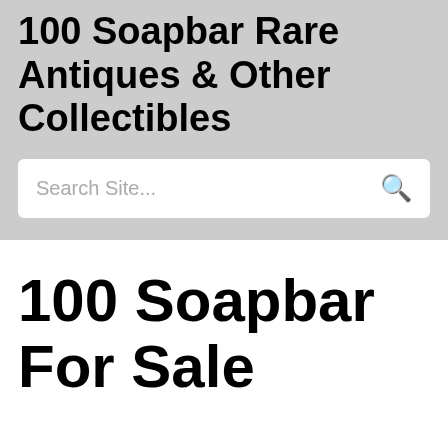100 Soapbar Rare Antiques & Other Collectibles
Search Site...
100 Soapbar For Sale